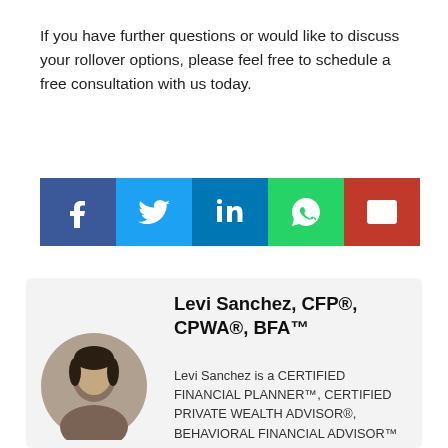If you have further questions or would like to discuss your rollover options, please feel free to schedule a free consultation with us today.
[Figure (infographic): Social sharing buttons: Facebook (dark blue), Twitter (light blue), LinkedIn (blue), WhatsApp (green), Email (red)]
Levi Sanchez, CFP®, CPWA®, BFA™
Levi Sanchez is a CERTIFIED FINANCIAL PLANNER™, CERTIFIED PRIVATE WEALTH ADVISOR®, BEHAVIORAL FINANCIAL ADVISOR™ designee and Founder of Millennial Wealth, a fee-only financial planning firm for young professionals and tech industry employees. Levi's been
[Figure (photo): Circular headshot photo of Levi Sanchez]